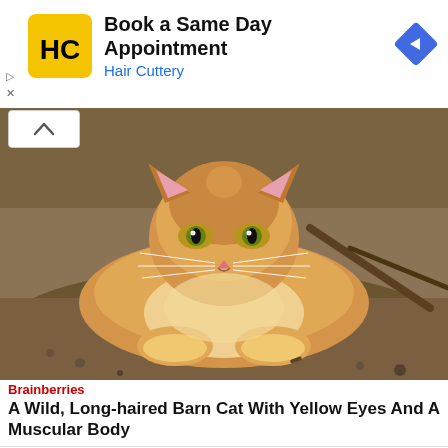[Figure (screenshot): Advertisement banner for Hair Cuttery: Book a Same Day Appointment, with yellow HC logo and blue navigation arrow icon]
[Figure (photo): A wild, long-haired orange/ginger barn cat with yellow eyes lying on the ground outdoors, looking directly at the camera]
Brainberries
A Wild, Long-haired Barn Cat With Yellow Eyes And A Muscular Body
[Figure (screenshot): Advertisement banner for Walgreens Photo: Shop Vitamins at Walgreens, with red cursive W logo and blue navigation arrow icon]
[Figure (screenshot): Bottom navigation bar with WhatsApp (green), Facebook (blue), Twitter (light blue) share buttons and a red NEXT > button]